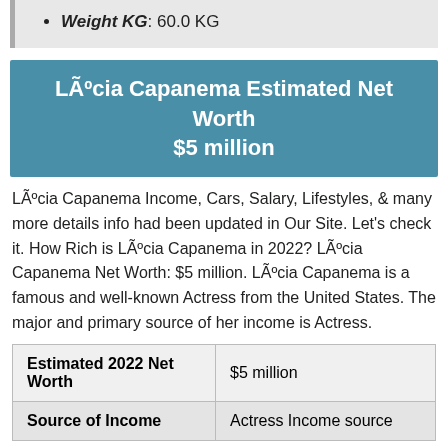Weight KG: 60.0 KG
LÃºcia Capanema Estimated Net Worth $5 million
LÃºcia Capanema Income, Cars, Salary, Lifestyles, & many more details info had been updated in Our Site. Let's check it. How Rich is LÃºcia Capanema in 2022? LÃºcia Capanema Net Worth: $5 million. LÃºcia Capanema is a famous and well-known Actress from the United States. The major and primary source of her income is Actress.
| Estimated 2022 Net Worth | $5 million |
| Source of Income | Actress Income source |
We shared the updated 2022 net worth details of Actress